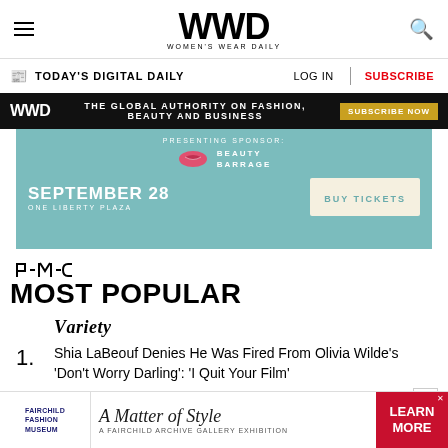WWD — Women's Wear Daily
TODAY'S DIGITAL DAILY | LOG IN | SUBSCRIBE
[Figure (advertisement): WWD black banner ad: THE GLOBAL AUTHORITY ON FASHION, BEAUTY AND BUSINESS — SUBSCRIBE NOW]
[Figure (advertisement): Teal ad: PRESENTING SPONSOR: BEAUTY BARRAGE — SEPTEMBER 28 ONE LIBERTY PLAZA — BUY TICKETS]
[Figure (logo): PMC logo]
MOST POPULAR
[Figure (logo): Variety logo]
1. Shia LaBeouf Denies He Was Fired From Olivia Wilde's 'Don't Worry Darling': 'I Quit Your Film'
[Figure (advertisement): Bottom ad: Fairchild Fashion Museum — A Matter of Style: A Fairchild Archive Gallery Exhibition — LEARN MORE]